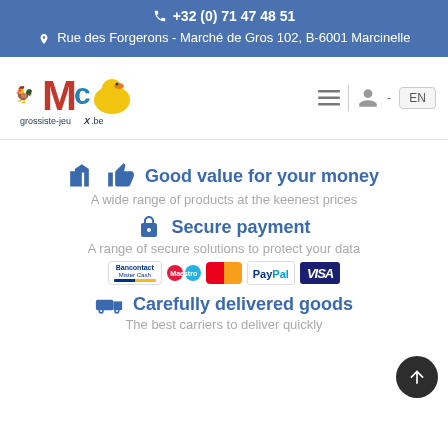+32 (0) 71 47 48 51
Rue des Forgerons - Marché de Gros 102, B-6001 Marcinelle
[Figure (logo): grossiste-jeux.be logo with toy characters and rubber duck]
Good value for your money
A wide range of products at the keenest prices
Secure payment
A range of secure solutions to protect your data
[Figure (infographic): Payment method logos: Bancontact/Mister Cash, Maestro, MasterCard, PayPal, VISA]
Carefully delivered goods
The best carriers to deliver quickly